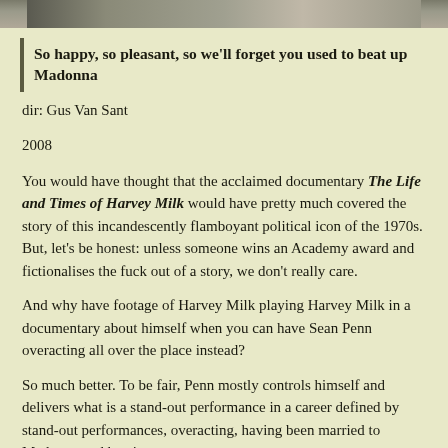[Figure (photo): Cropped top portion of a photograph showing people, partially visible at the top of the page]
So happy, so pleasant, so we'll forget you used to beat up Madonna
dir: Gus Van Sant
2008
You would have thought that the acclaimed documentary The Life and Times of Harvey Milk would have pretty much covered the story of this incandescently flamboyant political icon of the 1970s. But, let's be honest: unless someone wins an Academy award and fictionalises the fuck out of a story, we don't really care.
And why have footage of Harvey Milk playing Harvey Milk in a documentary about himself when you can have Sean Penn overacting all over the place instead?
So much better. To be fair, Penn mostly controls himself and delivers what is a stand-out performance in a career defined by stand-out performances, overacting, having been married to Madonna and beating